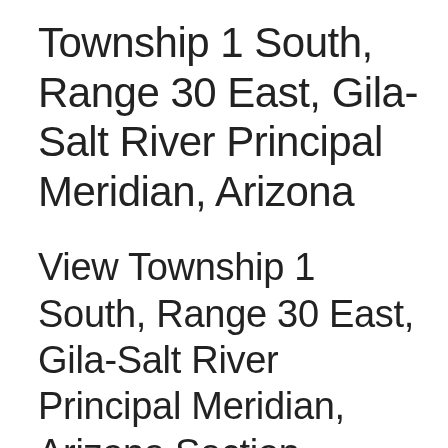Township 1 South, Range 30 East, Gila-Salt River Principal Meridian, Arizona
View Township 1 South, Range 30 East, Gila-Salt River Principal Meridian, Arizona Section Township Range map on Google Maps • Free township and range locator searches by address, place or reverse find by land parcel description.